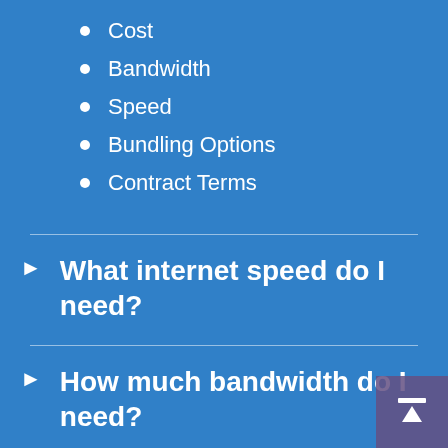Cost
Bandwidth
Speed
Bundling Options
Contract Terms
What internet speed do I need?
How much bandwidth do I need?